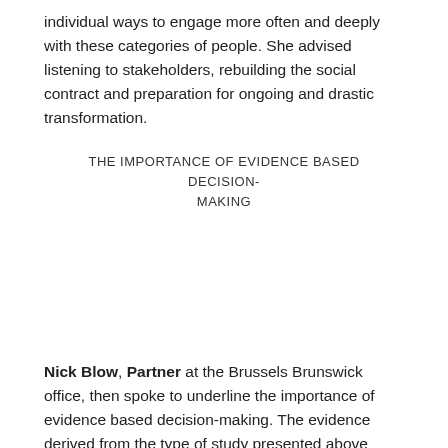individual ways to engage more often and deeply with these categories of people. She advised listening to stakeholders, rebuilding the social contract and preparation for ongoing and drastic transformation.
THE IMPORTANCE OF EVIDENCE BASED DECISION-MAKING
Nick Blow, Partner at the Brussels Brunswick office, then spoke to underline the importance of evidence based decision-making. The evidence derived from the type of study presented above sheds light on the priorities of citizens worldwide. These in turn would